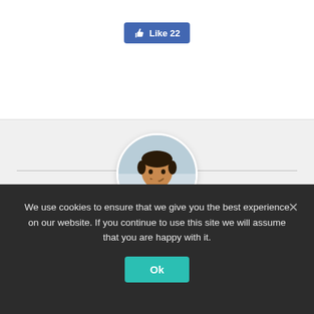[Figure (other): Facebook-style Like button showing thumbs-up icon and count 22, blue background]
[Figure (photo): Circular portrait photo of Kenn Schroder, a man smiling with hand on chin, wearing white shirt]
Kenn Schroder
As a web designer for coaches, I build credible, professional websites so you can confidently get out there to attract new clients. In 2001, I left the comfy corporate world to pursue my passion for "creating on computers." I've been lucky to
We use cookies to ensure that we give you the best experience on our website. If you continue to use this site we will assume that you are happy with it.